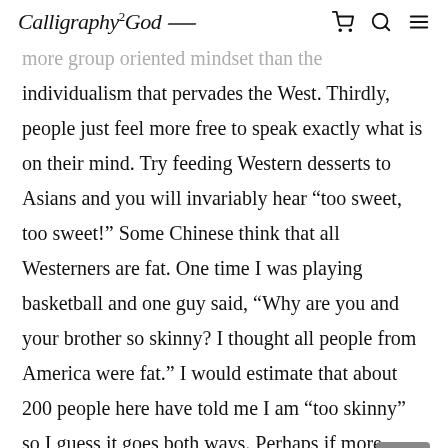Calligraphy2God [cart icon] [search icon] [menu icon]
more group oriented mindset than the individualism that pervades the West. Thirdly, people just feel more free to speak exactly what is on their mind. Try feeding Western desserts to Asians and you will invariably hear “too sweet, too sweet!” Some Chinese think that all Westerners are fat. One time I was playing basketball and one guy said, “Why are you and your brother so skinny? I thought all people from America were fat.” I would estimate that about 200 people here have told me I am “too skinny” so I guess it goes both ways. Perhaps if more people in America